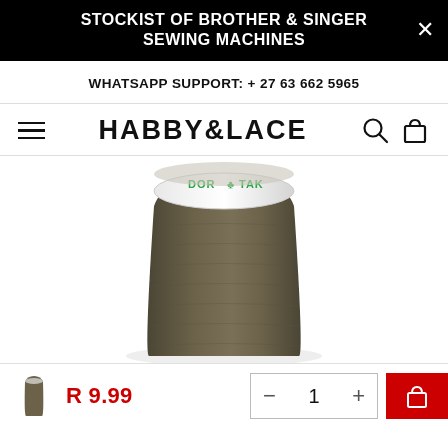STOCKIST OF BROTHER & SINGER SEWING MACHINES
WHATSAPP SUPPORT: + 27 63 662 5965
HABBY&LACE
[Figure (photo): Large cone/spool of olive/khaki brown sewing thread with a white label reading DOR TAK]
R 9.99
— 1 +